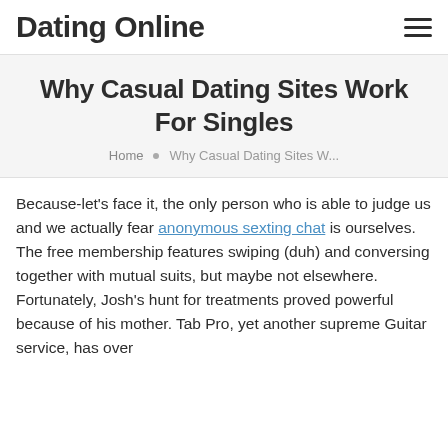Dating Online
Why Casual Dating Sites Work For Singles
Home • Why Casual Dating Sites W...
Because-let's face it, the only person who is able to judge us and we actually fear anonymous sexting chat is ourselves. The free membership features swiping (duh) and conversing together with mutual suits, but maybe not elsewhere. Fortunately, Josh's hunt for treatments proved powerful because of his mother. Tab Pro, yet another supreme Guitar service, has over